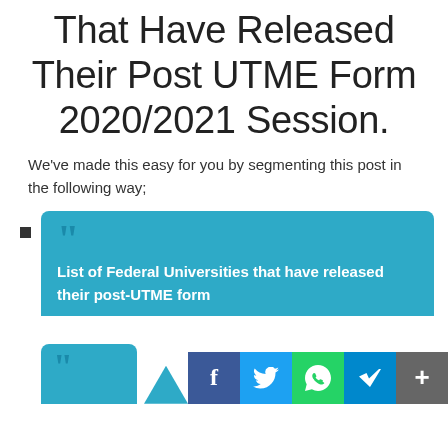That Have Released Their Post UTME Form 2020/2021 Session.
We've made this easy for you by segmenting this post in the following way;
List of Federal Universities that have released their post-UTME form